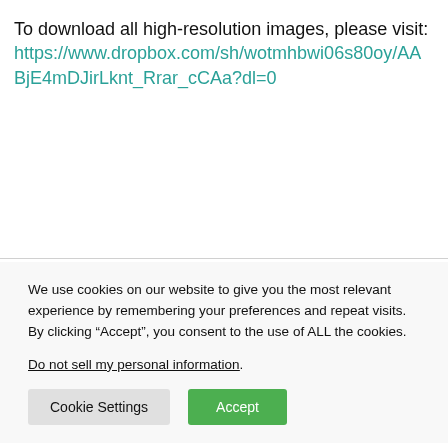To download all high-resolution images, please visit: https://www.dropbox.com/sh/wotmhbwi06s80oy/AABjE4mDJirLknt_Rrar_cCAa?dl=0
We use cookies on our website to give you the most relevant experience by remembering your preferences and repeat visits. By clicking “Accept”, you consent to the use of ALL the cookies.
Do not sell my personal information.